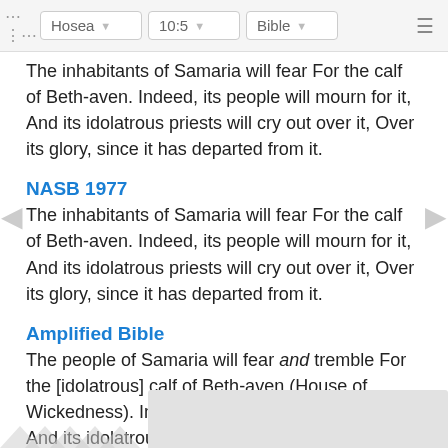Hosea | 10:5 | Bible
The inhabitants of Samaria will fear For the calf of Beth-aven. Indeed, its people will mourn for it, And its idolatrous priests will cry out over it, Over its glory, since it has departed from it.
NASB 1977
The inhabitants of Samaria will fear For the calf of Beth-aven. Indeed, its people will mourn for it, And its idolatrous priests will cry out over it, Over its glory, since it has departed from it.
Amplified Bible
The people of Samaria will fear and tremble For the [idolatrous] calf of Beth-aven (House of Wickedness). Indeed, its people will mourn over it And its idolatrous priests will cry out and wail over it, Over [its god] has d…